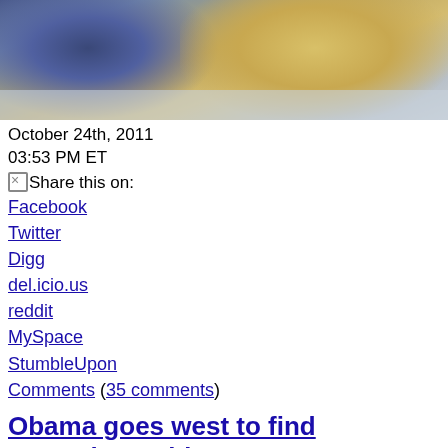[Figure (photo): Cropped photo showing people, partially visible, with blue and yellow/orange clothing tones against a light background]
October 24th, 2011
03:53 PM ET
Share this on:
Facebook
Twitter
Digg
del.icio.us
reddit
MySpace
StumbleUpon
Comments (35 comments)
Obama goes west to find campaign gold
[Figure (photo): Small circular/square avatar photo of a woman with dark hair]
Posted by:
CNN White House Correspondent Dan Lothian, CNN White House R…
Las Vegas, Nevada (CNN) –President Obama's west coast swing is e… his 2012 re-election campaign, and attract some Hollywood heavy hi…